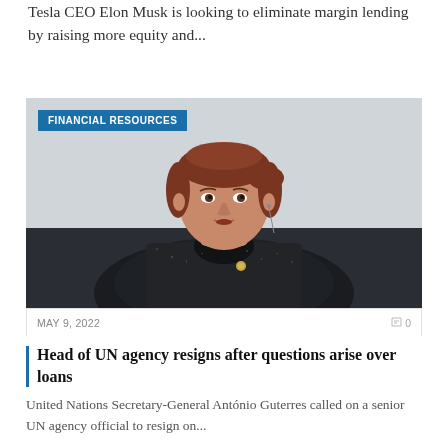Tesla CEO Elon Musk is looking to eliminate margin lending by raising more equity and...
[Figure (photo): Photo of a middle-aged woman with auburn hair in a dark patterned jacket, with a FINANCIAL RESOURCES badge overlay in the upper left corner]
MAY 9, 2022
0
Head of UN agency resigns after questions arise over loans
United Nations Secretary-General António Guterres called on a senior UN agency official to resign on...